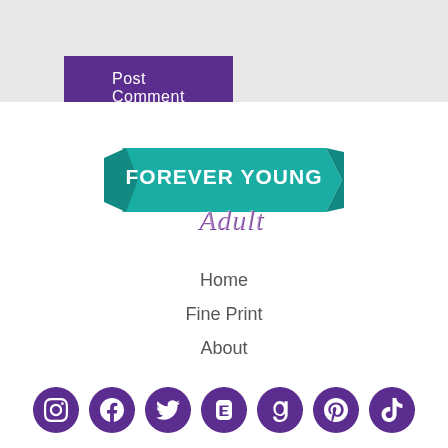[Figure (other): Post Comment button — purple/violet rectangular button with white text]
[Figure (logo): Forever Young Adult logo — teal ribbon banner with white bold text 'FOREVER YOUNG' and purple script text 'Adult']
Home
Fine Print
About
Contact
[Figure (other): Row of 7 social media icons (Instagram, Facebook, Twitter, Etsy, Goodreads, Pinterest, TikTok) in purple circles]